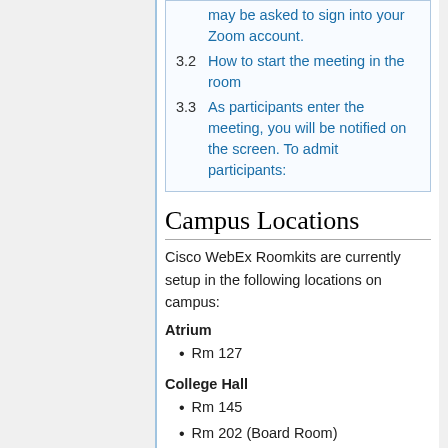3.2 How to start the meeting in the room
3.3 As participants enter the meeting, you will be notified on the screen. To admit participants:
Campus Locations
Cisco WebEx Roomkits are currently setup in the following locations on campus:
Atrium
Rm 127
College Hall
Rm 145
Rm 202 (Board Room)